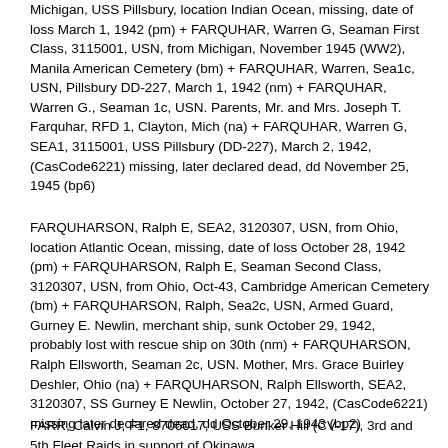Michigan, USS Pillsbury, location Indian Ocean, missing, date of loss March 1, 1942 (pm) + FARQUHAR, Warren G, Seaman First Class, 3115001, USN, from Michigan, November 1945 (WW2), Manila American Cemetery (bm) + FARQUHAR, Warren, Sea1c, USN, Pillsbury DD-227, March 1, 1942 (nm) + FARQUHAR, Warren G., Seaman 1c, USN. Parents, Mr. and Mrs. Joseph T. Farquhar, RFD 1, Clayton, Mich (na) + FARQUHAR, Warren G, SEA1, 3115001, USS Pillsbury (DD-227), March 2, 1942, (CasCode6221) missing, later declared dead, dd November 25, 1945 (bp6)
FARQUHARSON, Ralph E, SEA2, 3120307, USN, from Ohio, location Atlantic Ocean, missing, date of loss October 28, 1942 (pm) + FARQUHARSON, Ralph E, Seaman Second Class, 3120307, USN, from Ohio, Oct-43, Cambridge American Cemetery (bm) + FARQUHARSON, Ralph, Sea2c, USN, Armed Guard, Gurney E. Newlin, merchant ship, sunk October 29, 1942, probably lost with rescue ship on 30th (nm) + FARQUHARSON, Ralph Ellsworth, Seaman 2c, USN. Mother, Mrs. Grace Buirley Deshler, Ohio (na) + FARQUHARSON, Ralph Ellsworth, SEA2, 3120307, SS Gurney E Newlin, October 27, 1942, (CasCode6221) missing later declared dead, dd October 29, 1943 (bp2)
FARR, Calvin J, F1, 8706017, USS Bunker Hill (CV-17), 3rd and 5th Fleet Raids in support of Okinawa